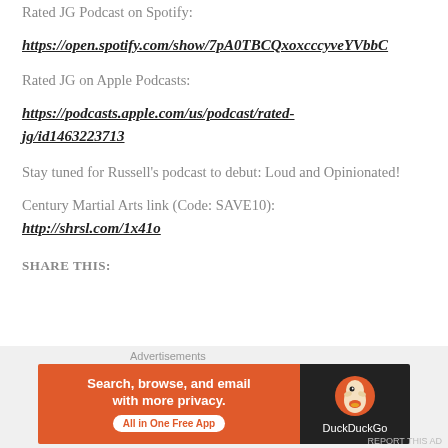Rated JG Podcast on Spotify:
https://open.spotify.com/show/7pA0TBCQxoxcccyveYVbbC
Rated JG on Apple Podcasts:
https://podcasts.apple.com/us/podcast/rated-jg/id1463223713
Stay tuned for Russell's podcast to debut: Loud and Opinionated!
Century Martial Arts link (Code: SAVE10): http://shrsl.com/1x41o
SHARE THIS:
Advertisements
[Figure (screenshot): DuckDuckGo advertisement banner: orange left section with text 'Search, browse, and email with more privacy. All in One Free App' and dark right section with DuckDuckGo duck logo and brand name.]